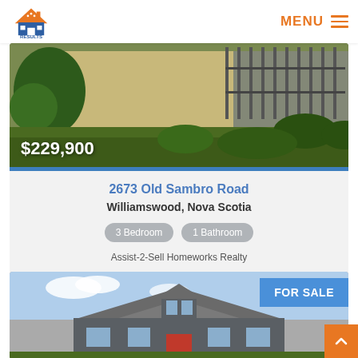Results Realty | MENU
[Figure (photo): Exterior photo of house with lawn and garden, price overlay $229,900]
$229,900
2673 Old Sambro Road
Williamswood, Nova Scotia
3 Bedroom
1 Bathroom
Assist-2-Sell Homeworks Realty
[Figure (photo): Exterior photo of house with FOR SALE badge]